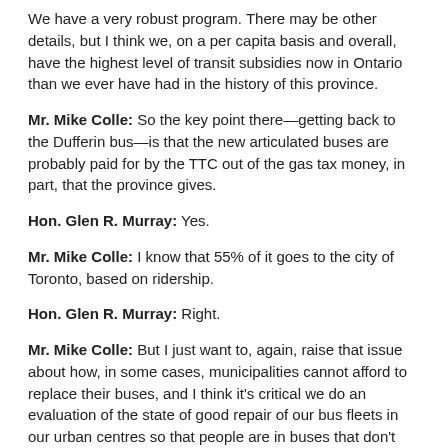We have a very robust program. There may be other details, but I think we, on a per capita basis and overall, have the highest level of transit subsidies now in Ontario than we ever have had in the history of this province.
Mr. Mike Colle: So the key point there—getting back to the Dufferin bus—is that the new articulated buses are probably paid for by the TTC out of the gas tax money, in part, that the province gives.
Hon. Glen R. Murray: Yes.
Mr. Mike Colle: I know that 55% of it goes to the city of Toronto, based on ridership.
Hon. Glen R. Murray: Right.
Mr. Mike Colle: But I just want to, again, raise that issue about how, in some cases, municipalities cannot afford to replace their buses, and I think it's critical we do an evaluation of the state of good repair of our bus fleets in our urban centres so that people are in buses that don't